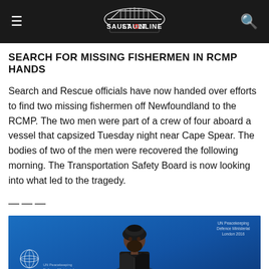Sault Online
SEARCH FOR MISSING FISHERMEN IN RCMP HANDS
Search and Rescue officials have now handed over efforts to find two missing fishermen off Newfoundland to the RCMP. The two men were part of a crew of four aboard a vessel that capsized Tuesday night near Cape Spear. The bodies of two of the men were recovered the following morning. The Transportation Safety Board is now looking into what led to the tragedy.
———
[Figure (photo): A man wearing a dark turban and beard seated or standing at a UN Peacekeeping event, blue background with UN logos visible]